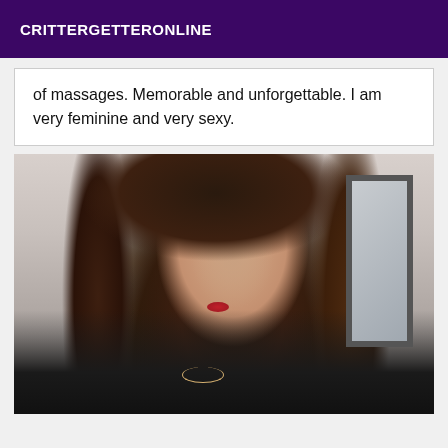CRITTERGETTERONLINE
of massages. Memorable and unforgettable. I am very feminine and very sexy.
[Figure (photo): Portrait photo of a young woman with long dark brown hair, wearing a black top and a gold necklace, smiling with red lipstick, with a mirror or window frame visible in the background.]